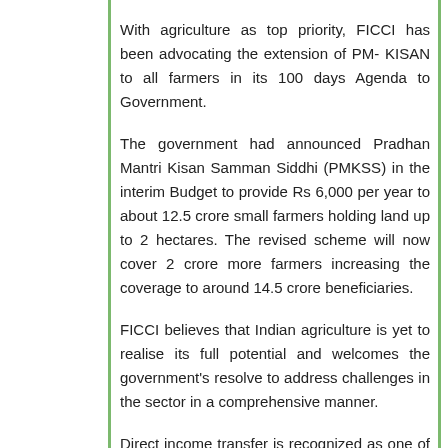With agriculture as top priority, FICCI has been advocating the extension of PM- KISAN to all farmers in its 100 days Agenda to Government.
The government had announced Pradhan Mantri Kisan Samman Siddhi (PMKSS) in the interim Budget to provide Rs 6,000 per year to about 12.5 crore small farmers holding land up to 2 hectares. The revised scheme will now cover 2 crore more farmers increasing the coverage to around 14.5 crore beneficiaries.
FICCI believes that Indian agriculture is yet to realise its full potential and welcomes the government's resolve to address challenges in the sector in a comprehensive manner.
Direct income transfer is recognized as one of the